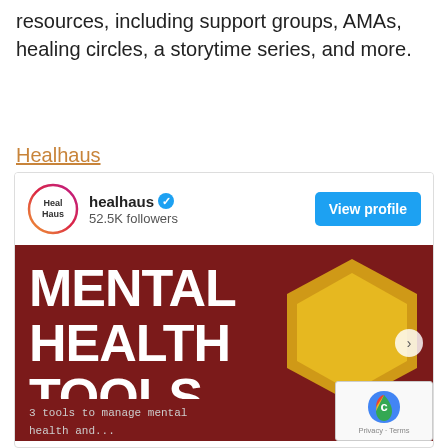resources, including support groups, AMAs, healing circles, a storytime series, and more.
Healhaus
[Figure (screenshot): Instagram profile card for 'healhaus' with 52.5K followers, a 'View profile' button, and a promotional post image showing 'MENTAL HEALTH TOOLS' in bold white text on a dark red/maroon background with a golden hexagon shape. Bottom text reads '3 tools to manage mental health and...' with a reCAPTCHA badge in the corner.]